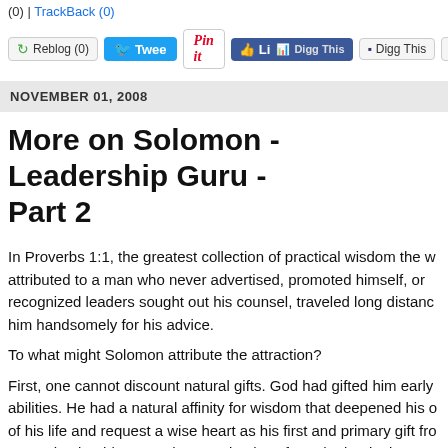(0) | TrackBack (0)
[Figure (screenshot): Social sharing buttons: Reblog (0), Tweet, Pin it, Like, Digg This, Save to del]
NOVEMBER 01, 2008
More on Solomon - Leadership Guru - Part 2
In Proverbs 1:1, the greatest collection of practical wisdom the w attributed to a man who never advertised, promoted himself, or recognized leaders sought out his counsel, traveled long distanc him handsomely for his advice.
To what might Solomon attribute the attraction?
First, one cannot discount natural gifts. God had gifted him early abilities. He had a natural affinity for wisdom that deepened his of his life and request a wise heart as his first and primary gift fro strengths, but his strengths were in place from the beginning.
None of us can change our basic aptitudes, but we develop the